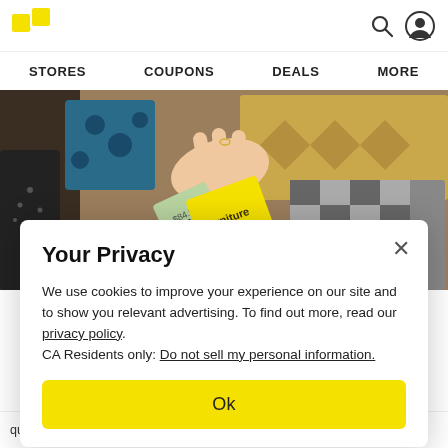STORES   COUPONS   DEALS   MORE
[Figure (photo): A hand holding a price tag showing $84.99 with a yellow Furniture 20% off coupon tag in front of home decor items including pillows and baskets.]
Your Privacy
We use cookies to improve your experience on our site and to show you relevant advertising. To find out more, read our privacy policy. CA Residents only: Do not sell my personal information.
Ok
qu ... xtreme durability & longevity, ... e on